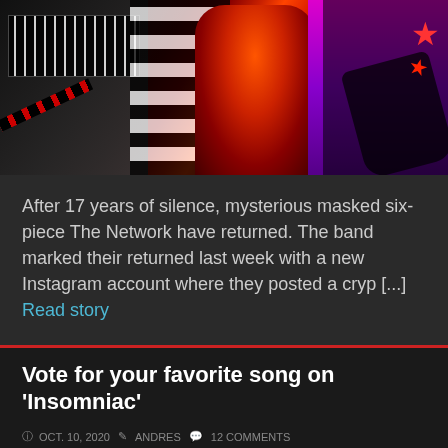[Figure (photo): Band photo showing musicians on stage with colorful costumes including striped black-and-white outfit, red costume, dark outfit with star-shaped guitar, against purple background, with keyboard/synth visible on left]
After 17 years of silence, mysterious masked six-piece The Network have returned. The band marked their returned last week with a new Instagram account where they posted a cryp [...] Read story
Vote for your favorite song on 'Insomniac'
© OCT. 10, 2020  ANDRES  12 COMMENTS